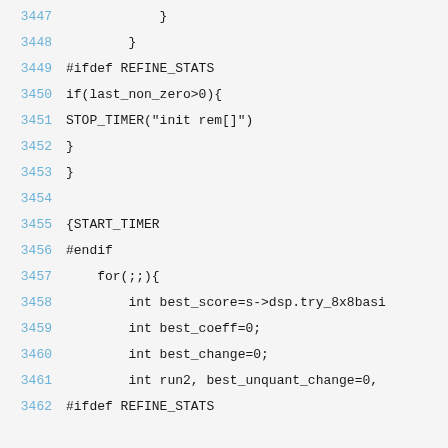3447    }
3448      }
3449 #ifdef REFINE_STATS
3450 if(last_non_zero>0){
3451 STOP_TIMER("init rem[]")
3452 }
3453 }
3454
3455 {START_TIMER
3456 #endif
3457     for(;;){
3458         int best_score=s->dsp.try_8x8basi
3459         int best_coeff=0;
3460         int best_change=0;
3461         int run2, best_unquant_change=0,
3462 #ifdef REFINE_STATS